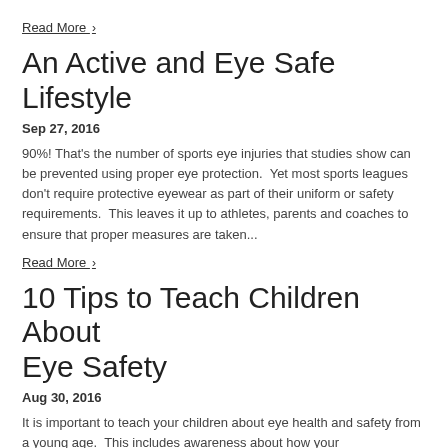Read More ›
An Active and Eye Safe Lifestyle
Sep 27, 2016
90%! That's the number of sports eye injuries that studies show can be prevented using proper eye protection.  Yet most sports leagues don't require protective eyewear as part of their uniform or safety requirements.  This leaves it up to athletes, parents and coaches to ensure that proper measures are taken...
Read More ›
10 Tips to Teach Children About Eye Safety
Aug 30, 2016
It is important to teach your children about eye health and safety from a young age.  This includes awareness about how your